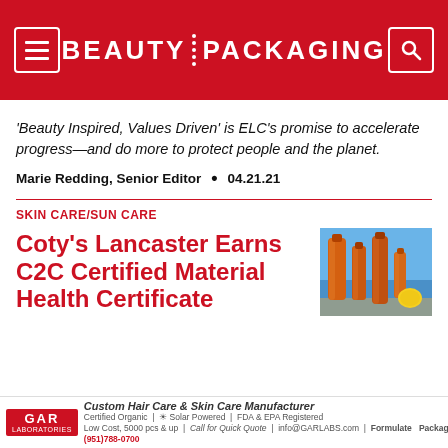BEAUTY PACKAGING
'Beauty Inspired, Values Driven' is ELC's promise to accelerate progress—and do more to protect people and the planet.
Marie Redding, Senior Editor  •  04.21.21
SKIN CARE/SUN CARE
[Figure (photo): Orange sunscreen tubes and bottles arranged on a beach background with a lemon]
Coty's Lancaster Earns C2C Certified Material Health Certificate
[Figure (other): GAR Laboratories advertisement banner — Custom Hair Care & Skin Care Manufacturer, Certified Organic, Solar Powered, FDA & EPA Registered, Low Cost 5000 pcs & up, Call for Quick Quote, info@GARLABS.com, Formulate Package]